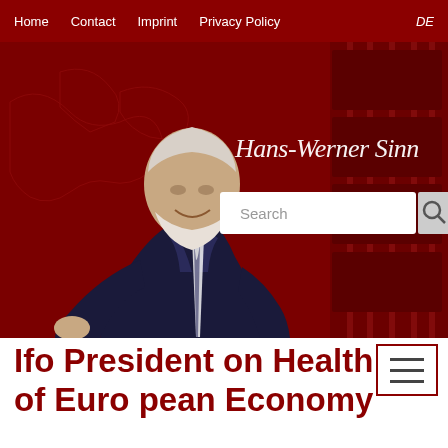Home   Contact   Imprint   Privacy Policy   DE
[Figure (photo): Hans-Werner Sinn website header with photo of an older man with white beard in a dark suit seated in a leather chair, on a red background with map elements. Cursive signature text reads 'Hans-Werner Sinn'. A search bar is visible on the right side of the header.]
Ifo President on Health of European Economy